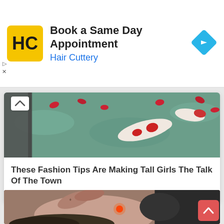[Figure (infographic): Hair Cuttery advertisement banner with logo, title 'Book a Same Day Appointment', subtitle 'Hair Cuttery', and a blue diamond navigation arrow icon on the right]
Book a Same Day Appointment
Hair Cuttery
[Figure (photo): Overhead view of koi fish pond with red and white koi fish swimming, red flower petals floating on water]
These Fashion Tips Are Making Tall Girls The Talk Of The Town
Herbeauty
[Figure (photo): Close-up photo of a person receiving laser treatment near their eye, tattoed hands holding skin, gloved hand operating red laser device]